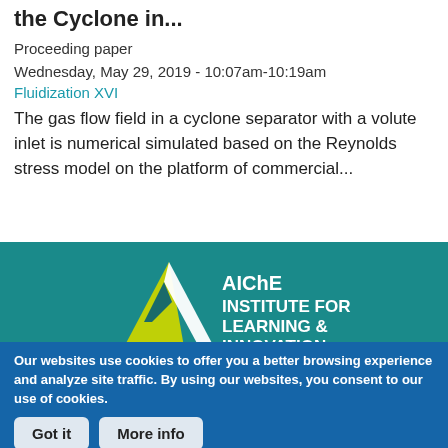the Cyclone in...
Proceeding paper
Wednesday, May 29, 2019 - 10:07am-10:19am
Fluidization XVI
The gas flow field in a cyclone separator with a volute inlet is numerical simulated based on the Reynolds stress model on the platform of commercial...
[Figure (logo): AIChE Institute for Learning & Innovation logo on teal background]
Our websites use cookies to offer you a better browsing experience and analyze site traffic. By using our websites, you consent to our use of cookies.
Got it   More info